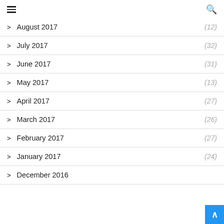≡  🔍
August 2017 (12)
July 2017 (32)
June 2017 (31)
May 2017 (13)
April 2017 (27)
March 2017 (26)
February 2017 (27)
January 2017 (24)
December 2016 (…)